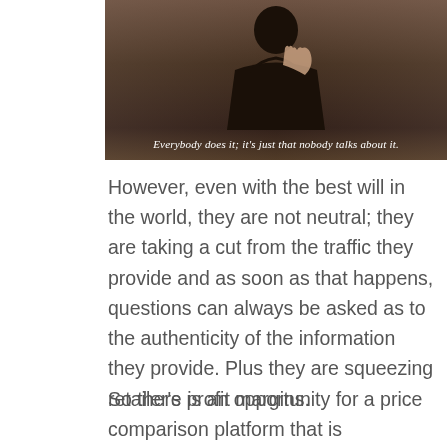[Figure (photo): A person with finger to lips in a 'shush' gesture, dark background. Subtitle text overlay reads: Everybody does it; it's just that nobody talks about it.]
However, even with the best will in the world, they are not neutral; they are taking a cut from the traffic they provide and as soon as that happens, questions can always be asked as to the authenticity of the information they provide. Plus they are squeezing retailer's profit margins.
So there is an opportunity for a price comparison platform that is neutral.That doesn't take a cut. Enter